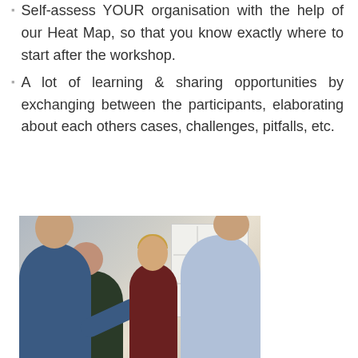Self-assess YOUR organisation with the help of our Heat Map, so that you know exactly where to start after the workshop.
A lot of learning & sharing opportunities by exchanging between the participants, elaborating about each others cases, challenges, pitfalls, etc.
[Figure (photo): Group of people in a workshop setting, standing and looking at a whiteboard with sticky notes and a grid diagram on it. Participants are viewed from behind.]